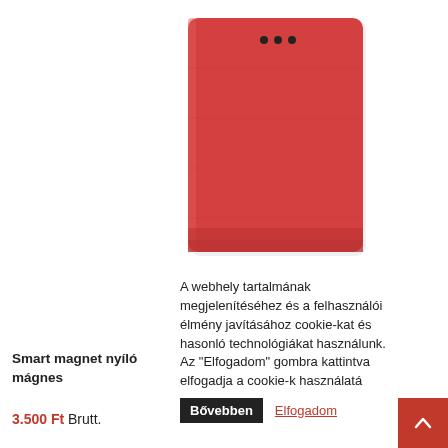[Figure (photo): Red leather flip phone case with magnetic closure, front cover view, showing three small dots near the top]
A webhely tartalmának megjelenítéséhez és a felhasználói élmény javításához cookie-kat és hasonló technológiákat használunk. Az "Elfogadom" gombra kattintva elfogadja a cookie-k használatá
Bővebben   Elfogadom
Smart magnet nyíló mágnes
3.500 Ft Brutt.